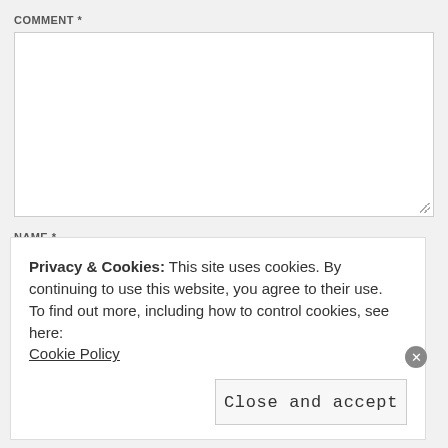COMMENT *
[Figure (screenshot): Empty comment textarea input field with resize handle]
NAME *
[Figure (screenshot): Empty name text input field]
EMAIL *
[Figure (screenshot): Empty email text input field]
Privacy & Cookies: This site uses cookies. By continuing to use this website, you agree to their use.
To find out more, including how to control cookies, see here:
Cookie Policy
Close and accept